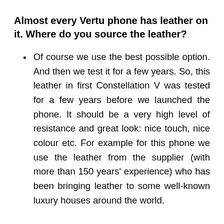Almost every Vertu phone has leather on it. Where do you source the leather?
Of course we use the best possible option. And then we test it for a few years. So, this leather in first Constellation V was tested for a few years before we launched the phone. It should be a very high level of resistance and great look: nice touch, nice colour etc. For example for this phone we use the leather from the supplier (with more than 150 years' experience) who has been bringing leather to some well-known luxury houses around the world.